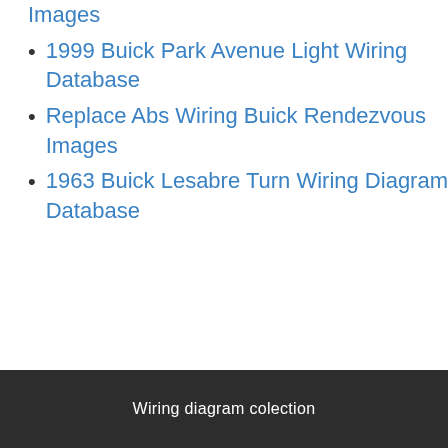Images
1999 Buick Park Avenue Light Wiring Database
Replace Abs Wiring Buick Rendezvous Images
1963 Buick Lesabre Turn Wiring Diagram Database
Wiring diagram colection